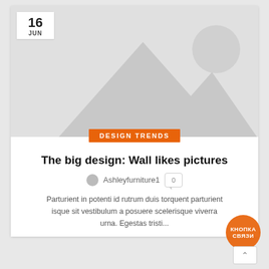[Figure (illustration): Placeholder image with grey background showing mountain silhouettes and circle (sun), typical image placeholder graphic]
16 JUN
DESIGN TRENDS
The big design: Wall likes pictures
Ashleyfurniture1  0
Parturient in potenti id rutrum duis torquent parturient isque sit vestibulum a posuere scelerisque viverra urna. Egestas tristi...